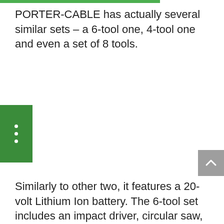PORTER-CABLE has actually several similar sets – a 6-tool one, 4-tool one and even a set of 8 tools.
[Figure (other): Green vertical menu button with three white dots]
[Figure (other): Grey scroll-to-top button with upward caret arrow]
Similarly to other two, it features a 20-volt Lithium Ion battery. The 6-tool set includes an impact driver, circular saw, oscillating tool, reciprocating saw,